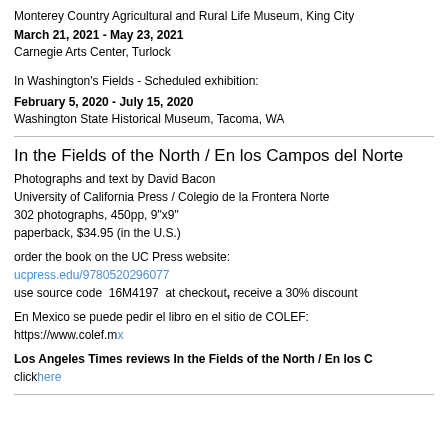Monterey Country Agricultural and Rural Life Museum, King City
March 21, 2021 - May 23, 2021
Carnegie Arts Center, Turlock
In Washington's Fields - Scheduled exhibition:
February 5, 2020 - July 15, 2020
Washington State Historical Museum, Tacoma, WA
In the Fields of the North / En los Campos del Norte
Photographs and text by David Bacon
University of California Press / Colegio de la Frontera Norte
302 photographs, 450pp, 9"x9"
paperback, $34.95 (in the U.S.)
order the book on the UC Press website:
ucpress.edu/9780520296077
use source code  16M4197  at checkout, receive a 30% discount
En Mexico se puede pedir el libro en el sitio de COLEF:
https://www.colef.mx
Los Angeles Times reviews In the Fields of the North / En los C
click here